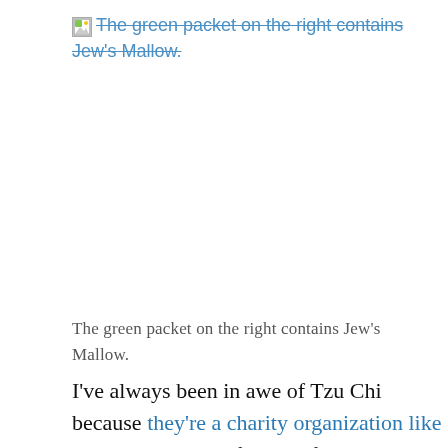[Figure (other): Broken image placeholder with strikethrough link text reading 'The green packet on the right contains Jew's Mallow.']
The green packet on the right contains Jew's Mallow.
I've always been in awe of Tzu Chi because they're a charity organization like no other. Instead of asking for handouts, they prefer